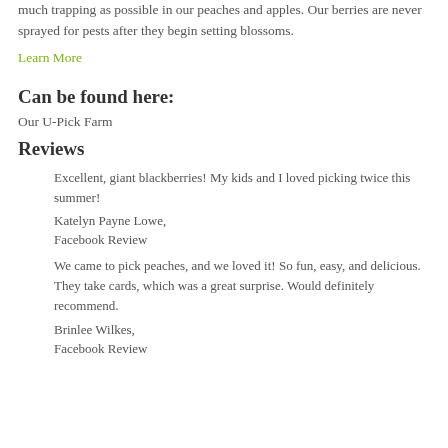much trapping as possible in our peaches and apples. Our berries are never sprayed for pests after they begin setting blossoms.
Learn More
Can be found here:
Our U-Pick Farm
Reviews
Excellent, giant blackberries! My kids and I loved picking twice this summer!
Katelyn Payne Lowe,
Facebook Review
We came to pick peaches, and we loved it! So fun, easy, and delicious. They take cards, which was a great surprise. Would definitely recommend.
Brinlee Wilkes,
Facebook Review